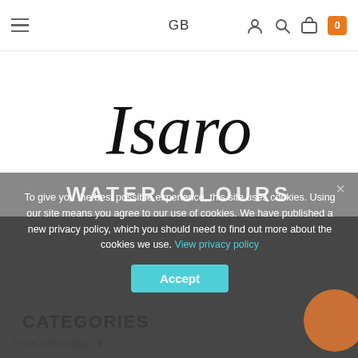GB
[Figure (logo): Isaro brand logo with cursive script text 'Isaro' and a paintbrush illustration beneath]
CATEGORIES
WATERCOLOURS
Price, low to high
Filte
To give you the best possible experience, this site uses cookies. Using our site means you agree to our use of cookies. We have published a new privacy policy, which you should need to find out more about the cookies we use. View privacy policy
Accept